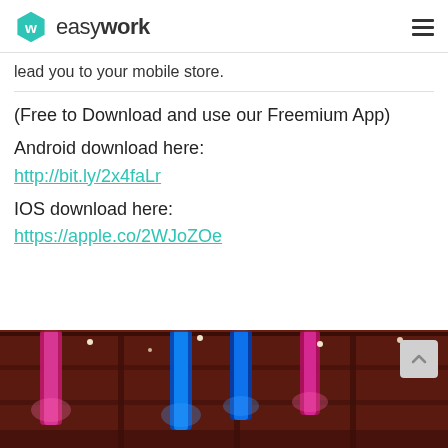easywork
lead you to your mobile store.
(Free to Download and use our Freemium App)
Android download here:
http://bit.ly/2x4faLr
IOS download here:
https://apple.co/2WJoZOe
[Figure (photo): Interior venue photo showing colorful hanging light fixtures (blue, pink, magenta) suspended from a dark ceiling with industrial framework. Photo taken from below looking up.]